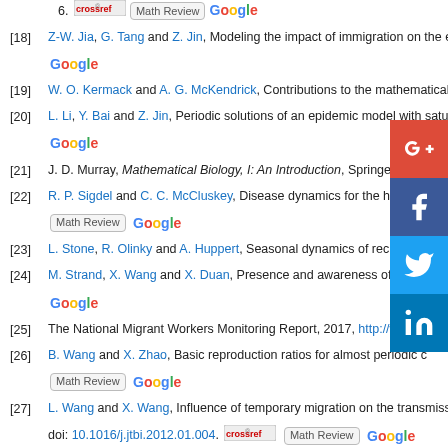[18] Z-W. Jia, G. Tang and Z. Jin, Modeling the impact of immigration on the epi... Google
[19] W. O. Kermack and A. G. McKendrick, Contributions to the mathematical the...
[20] L. Li, Y. Bai and Z. Jin, Periodic solutions of an epidemic model with saturate... Google
[21] J. D. Murray, Mathematical Biology, I: An Introduction, Springer, 200...
[22] R. P. Sigdel and C. C. McCluskey, Disease dynamics for the hometo... Math Review Google
[23] L. Stone, R. Olinky and A. Huppert, Seasonal dynamics of recurrent...
[24] M. Strand, X. Wang and X. Duan, Presence and awareness of infec... Google
[25] The National Migrant Workers Monitoring Report, 2017, http://www.s...
[26] B. Wang and X. Zhao, Basic reproduction ratios for almost periodic c... Math Review Google
[27] L. Wang and X. Wang, Influence of temporary migration on the transmission... doi: 10.1016/j.jtbi.2012.01.004. CrossRef Math Review Google
[28] X. Wang and H. Zhang, A new approach to the existence, nonexistence and...